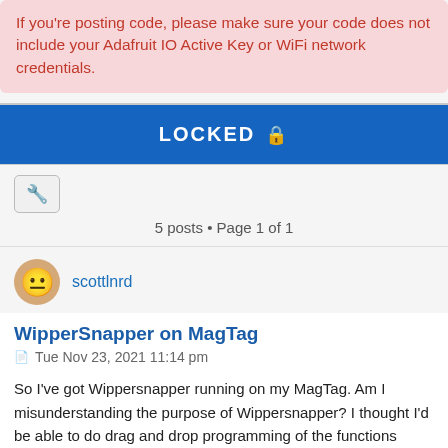If you're posting code, please make sure your code does not include your Adafruit IO Active Key or WiFi network credentials.
LOCKED 🔒
[Figure (other): Wrench/settings toolbar button icon]
5 posts • Page 1 of 1
scottlnrd
WipperSnapper on MagTag
Tue Nov 23, 2021 11:14 pm
So I've got Wippersnapper running on my MagTag. Am I misunderstanding the purpose of Wippersnapper? I thought I'd be able to do drag and drop programming of the functions already on the device, like the leds...